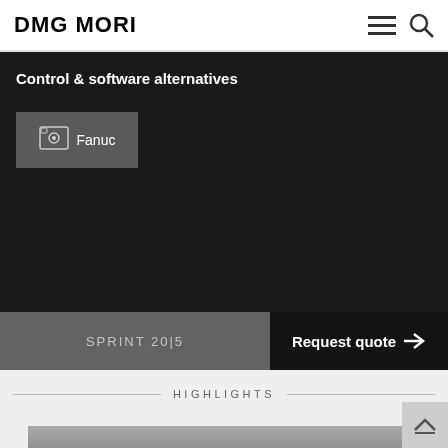DMG MORI
Control & software alternatives
Fanuc
SPRINT 20|5
Request quote →
HIGHLIGHTS
[Figure (photo): Partial photo of a dark mechanical/machined part at the bottom of the page]